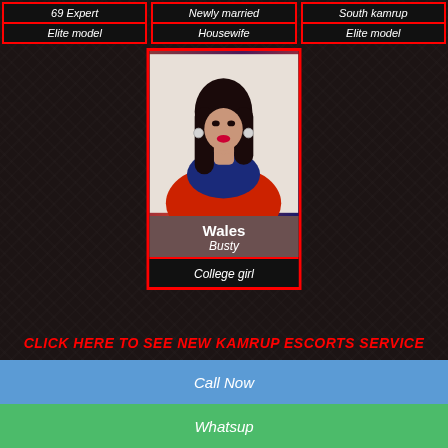69 Expert
Elite model
Newly married
Housewife
South kamrup
Elite model
[Figure (photo): Portrait photo of a young woman in red saree and blue top with earrings]
Wales
Busty
College girl
CLICK HERE TO SEE NEW KAMRUP ESCORTS SERVICE
Call Now
Whatsup